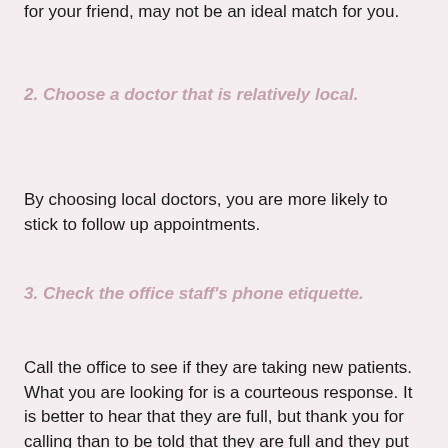for your friend, may not be an ideal match for you.
2. Choose a doctor that is relatively local.
By choosing local doctors, you are more likely to stick to follow up appointments.
3. Check the office staff's phone etiquette.
Call the office to see if they are taking new patients. What you are looking for is a courteous response. It is better to hear that they are full, but thank you for calling than to be told that they are full and they put priority on existing patients. Better still, would be, they are full, but will be happy